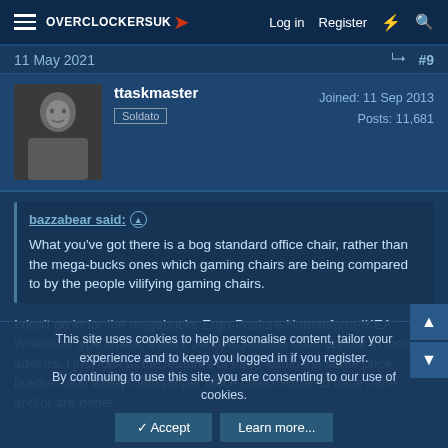OVERCLOCKERS UK | Log in | Register
11 May 2021   #9
ttaskmaster
Soldato
Joined: 11 Sep 2013
Posts: 11,681
bazzabear said:
What you've got there is a bog standard office chair, rather than the mega-bucks ones which gaming chairs are being compared to by the people vilifying gaming chairs.
I don't go in for the megabucks Ergo-Posture-Humanform-IKEA-Whatever type chairs, even if Jennifer Aniston does appear in their adverts. I just look at the features of each within the same price bracket, and always find proper office chairs either to have more and/or are better
This site uses cookies to help personalise content, tailor your experience and to keep you logged in if you register.
By continuing to use this site, you are consenting to our use of cookies.
✓ Accept   Learn more...